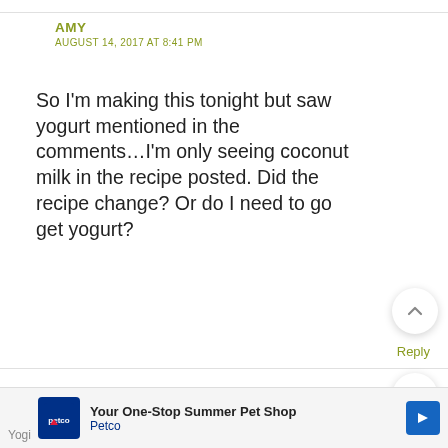AMY
AUGUST 14, 2017 AT 8:41 PM
So I'm making this tonight but saw yogurt mentioned in the comments…I'm only seeing coconut milk in the recipe posted. Did the recipe change? Or do I need to go get yogurt?
Reply
AMY TAYLOR (COMMENT MODERATOR)
AUGUST 28, 2017 AT 3:43 PM
[Figure (other): Advertisement banner for Petco - Your One-Stop Summer Pet Shop with Petco logo and navigation arrow icon]